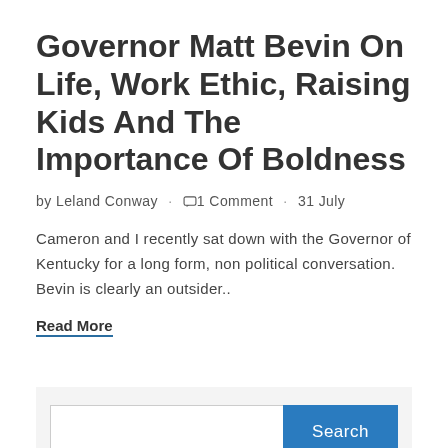Governor Matt Bevin On Life, Work Ethic, Raising Kids And The Importance Of Boldness
by Leland Conway · 💬1 Comment · 31 July
Cameron and I recently sat down with the Governor of Kentucky for a long form, non political conversation. Bevin is clearly an outsider..
Read More
[Figure (other): Search widget with text input field and blue Search button]
RECENT POSTS